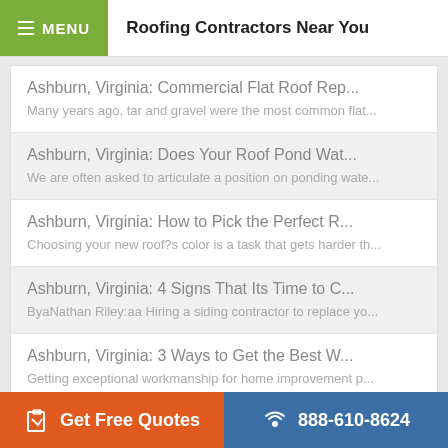MENU  Roofing Contractors Near You
Ashburn, Virginia: Commercial Flat Roof Rep...
Many years ago, tar and gravel were the most common flat...
Ashburn, Virginia: Does Your Roof Pond Wat...
We are often asked to articulate a position on ponding wate...
Ashburn, Virginia: How to Pick the Perfect R...
Choosing your new roof?s color is a task that gets harder th...
Ashburn, Virginia: 4 Signs That Its Time to C...
ByaNathan Riley:aa Hiring a siding contractor to replace yo...
Ashburn, Virginia: 3 Ways to Get the Best W...
Getting exceptional workmanship for home improvement p...
Get Free Quotes  888-610-8624